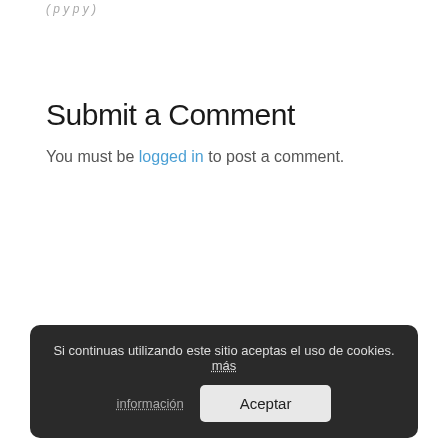(truncated top text)
Submit a Comment
You must be logged in to post a comment.
Si continuas utilizando este sitio aceptas el uso de cookies. más información   Aceptar